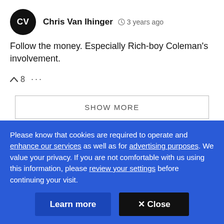Chris Van Ihinger  3 years ago
Follow the money. Especially Rich-boy Coleman's involvement.
8  ...
SHOW MORE
Please know that cookies are required to operate and enhance our services as well as for advertising purposes. We value your privacy. If you are not comfortable with us using this information, please review your settings before continuing your visit.
Learn more
✕ Close